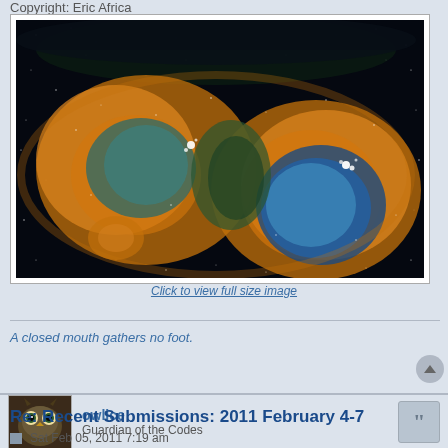Copyright: Eric Africa
[Figure (photo): Nebula photograph showing two glowing lobes of a nebula - the Soul Nebula or similar emission nebula - with golden-orange outer regions and blue-green interior regions against a dark star field background.]
Click to view full size image
A closed mouth gathers no foot.
owlice
Guardian of the Codes
Re: Recent Submissions: 2011 February 4-7
Sat Feb 05, 2011 7:19 am